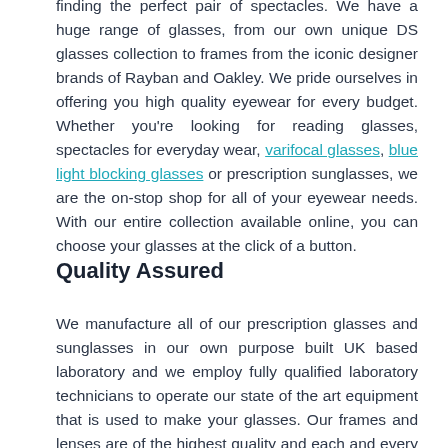finding the perfect pair of spectacles. We have a huge range of glasses, from our own unique DS glasses collection to frames from the iconic designer brands of Rayban and Oakley. We pride ourselves in offering you high quality eyewear for every budget. Whether you're looking for reading glasses, spectacles for everyday wear, varifocal glasses, blue light blocking glasses or prescription sunglasses, we are the on-stop shop for all of your eyewear needs. With our entire collection available online, you can choose your glasses at the click of a button.
Quality Assured
We manufacture all of our prescription glasses and sunglasses in our own purpose built UK based laboratory and we employ fully qualified laboratory technicians to operate our state of the art equipment that is used to make your glasses. Our frames and lenses are of the highest quality and each and every pair of